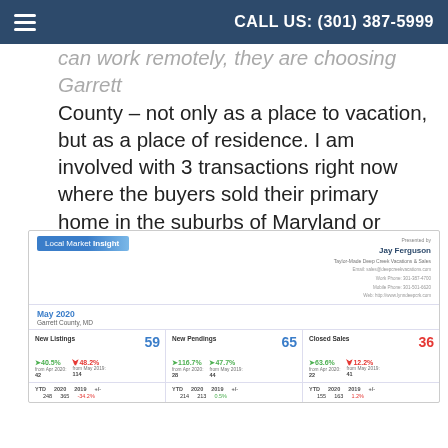CALL US: (301) 387-5999
can work remotely, they are choosing Garrett County – not only as a place to vacation, but as a place of residence. I am involved with 3 transactions right now where the buyers sold their primary home in the suburbs of Maryland or Virginia to purchase a full time residence here. That's a new trend worth watching and I believe that you will continue to see similar scenarios play out as this COVID situation develops. Here are the stats for May:
[Figure (infographic): Local Market Insight card for May 2020, Garrett County MD. Presented by Jay Ferguson, Taylor-Made Deep Creek Vacations & Sales. Shows New Listings: 59 (+40.5% from Apr 2020: 42, -48.2% from May 2019: 114). New Pendings: 65 (+116.7% from Apr 2020: 28, +47.7% from May 2019: 44). Closed Sales: 36 (+63.6% from Apr 2020: 22, -12.2% from May 2019: 41). YTD: New Listings 2020:248, 2019:365, -34.2%; New Pendings 2020:214, 2019:213, 0.5%; Closed Sales 2020:155, 2019:163, 1.2%.]